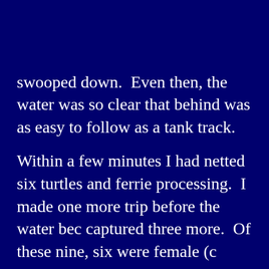swooped down.  Even then, the water was so clear that behind was as easy to follow as a tank track.
Within a few minutes I had netted six turtles and ferried processing.  I made one more trip before the water became captured three more.  Of these nine, six were female (c